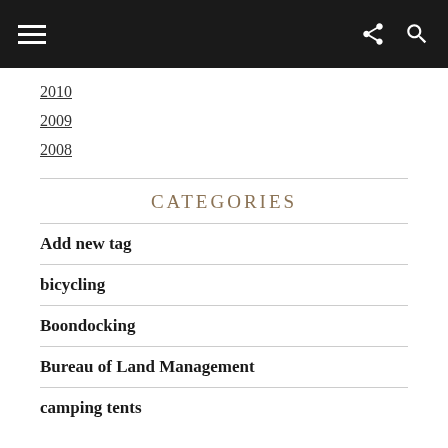Navigation bar with hamburger menu, share icon, and search icon
2010
2009
2008
CATEGORIES
Add new tag
bicycling
Boondocking
Bureau of Land Management
camping tents